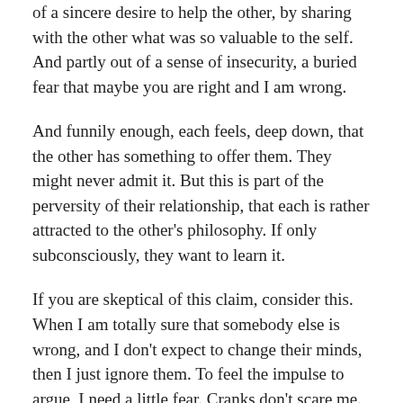of a sincere desire to help the other, by sharing with the other what was so valuable to the self. And partly out of a sense of insecurity, a buried fear that maybe you are right and I am wrong.
And funnily enough, each feels, deep down, that the other has something to offer them. They might never admit it. But this is part of the perversity of their relationship, that each is rather attracted to the other's philosophy. If only subconsciously, they want to learn it.
If you are skeptical of this claim, consider this. When I am totally sure that somebody else is wrong, and I don't expect to change their minds, then I just ignore them. To feel the impulse to argue, I need a little fear. Cranks don't scare me. What scares me is when I think somebody's wrong, but I have the feeling of truth pulling me toward their view, and yet I can't stand the thought that it really is